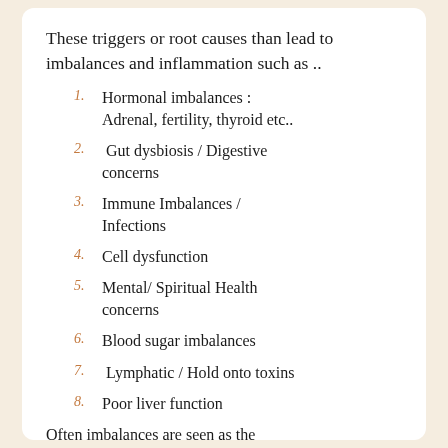These triggers or root causes than lead to imbalances and inflammation such as ..
Hormonal imbalances : Adrenal, fertility, thyroid etc..
Gut dysbiosis / Digestive concerns
Immune Imbalances / Infections
Cell dysfunction
Mental/ Spiritual Health concerns
Blood sugar imbalances
Lymphatic / Hold onto toxins
Poor liver function
Often imbalances are seen as the